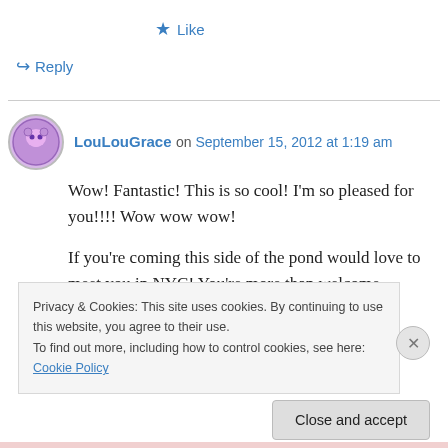★ Like
↪ Reply
LouLouGrace on September 15, 2012 at 1:19 am
Wow! Fantastic! This is so cool! I'm so pleased for you!!!! Wow wow wow!
If you're coming this side of the pond would love to meet you in NYC! You're more than welcome
Privacy & Cookies: This site uses cookies. By continuing to use this website, you agree to their use.
To find out more, including how to control cookies, see here: Cookie Policy
Close and accept